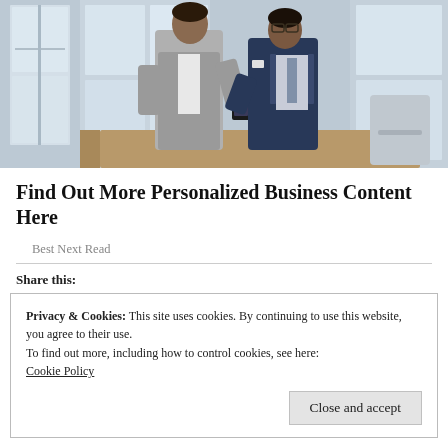[Figure (photo): Two businessmen in suits looking at a smartphone together in an office setting with large windows]
Find Out More Personalized Business Content Here
Best Next Read
Share this:
Privacy & Cookies: This site uses cookies. By continuing to use this website, you agree to their use.
To find out more, including how to control cookies, see here:
Cookie Policy
Close and accept